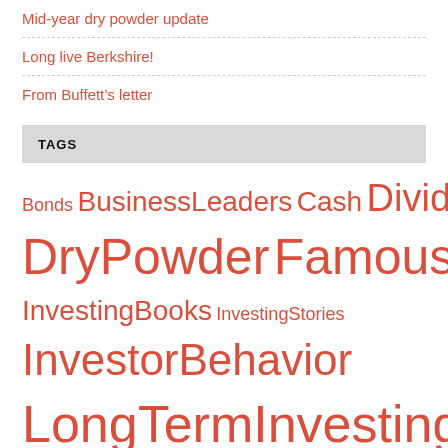Mid-year dry powder update
Long live Berkshire!
From Buffett's letter
TAGS
Bonds BusinessLeaders Cash Dividends DryPowder FamousInvestors Gold Indexing InvestingBooks InvestingStories InvestorBehavior LongTermInvesting MarketHistory MarketTiming MediaAdvice MyPortfolio PublicCompanies